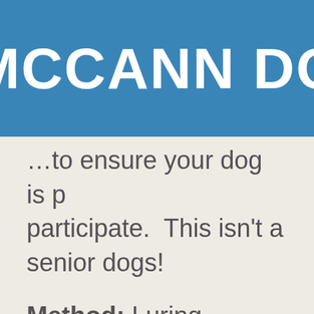McCANN DO
...to ensure your dog is prepared to participate.  This isn't a ... senior dogs!
Method: Luring
Skill Level: Intermedia...